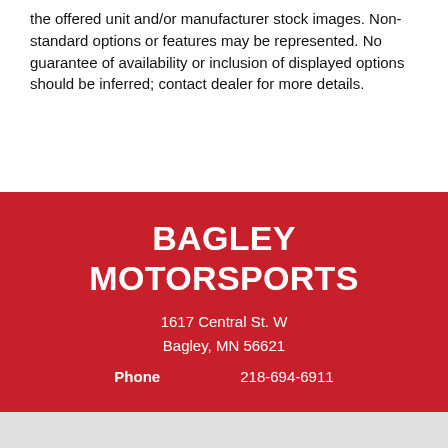the offered unit and/or manufacturer stock images. Non-standard options or features may be represented. No guarantee of availability or inclusion of displayed options should be inferred; contact dealer for more details.
BAGLEY MOTORSPORTS
1617 Central St. W
Bagley, MN 56621
Phone    218-694-6911